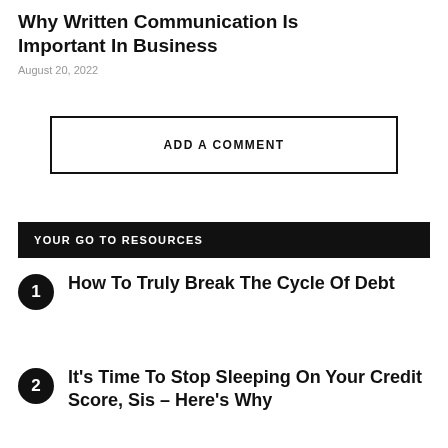Why Written Communication Is Important In Business
August 20, 2022
ADD A COMMENT
YOUR GO TO RESOURCES
How To Truly Break The Cycle Of Debt
It's Time To Stop Sleeping On Your Credit Score, Sis – Here's Why